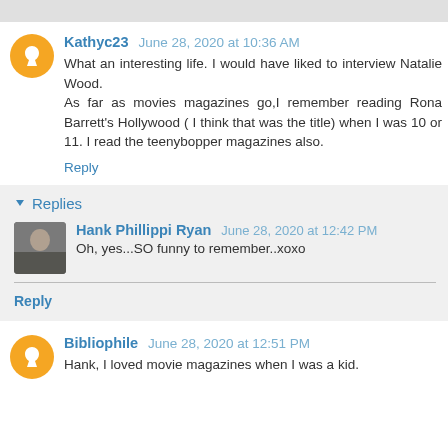Kathyc23 June 28, 2020 at 10:36 AM
What an interesting life. I would have liked to interview Natalie Wood.
As far as movies magazines go,I remember reading Rona Barrett's Hollywood ( I think that was the title) when I was 10 or 11. I read the teenybopper magazines also.
Reply
Replies
Hank Phillippi Ryan June 28, 2020 at 12:42 PM
Oh, yes...SO funny to remember..xoxo
Reply
Bibliophile June 28, 2020 at 12:51 PM
Hank, I loved movie magazines when I was a kid.